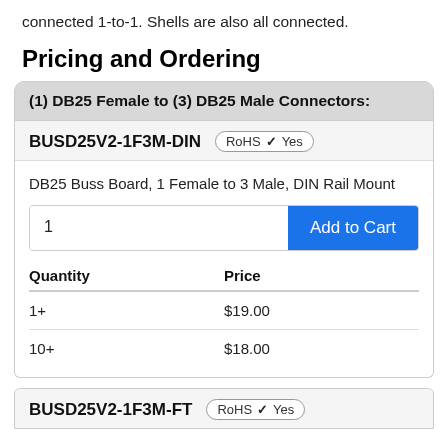BUSD25V2-1A3X-XX (current version): All 25 pins connected 1-to-1. Shells are also all connected.
Pricing and Ordering
(1) DB25 Female to (3) DB25 Male Connectors:
|  |  |
| --- | --- |
| BUSD25V2-1F3M-DIN | RoHS ✓ Yes |
DB25 Buss Board, 1 Female to 3 Male, DIN Rail Mount
| Quantity | Price |
| --- | --- |
| 1+ | $19.00 |
| 10+ | $18.00 |
|  |  |
| --- | --- |
| BUSD25V2-1F3M-FT | RoHS ✓ Yes |